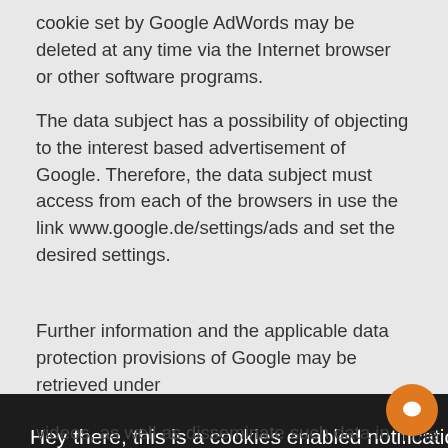cookie set by Google AdWords may be deleted at any time via the Internet browser or other software programs.
The data subject has a possibility of objecting to the interest based advertisement of Google. Therefore, the data subject must access from each of the browsers in use the link www.google.de/settings/ads and set the desired settings.
Further information and the applicable data protection provisions of Google may be retrieved under
[Figure (screenshot): Cookie notification overlay with dark background. Text reads: 'Hey there, this is a cookies enabled notification. Close it once and it's closed forever. Learn more'. Below is an orange DISMISS button. A circular orange chat icon is visible at bottom right.]
videos, as well as disseminate such data in other social networks